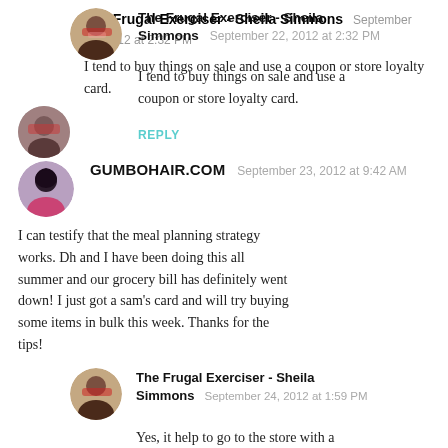[Figure (photo): Round avatar photo of The Frugal Exerciser - Sheila Simmons, top comment]
The Frugal Exerciser - Sheila Simmons  September 22, 2012 at 2:32 PM

I tend to buy things on sale and use a coupon or store loyalty card.
REPLY
[Figure (photo): Round avatar photo of GUMBOHAIR.COM commenter]
GUMBOHAIR.COM  September 23, 2012 at 9:42 AM

I can testify that the meal planning strategy works. Dh and I have been doing this all summer and our grocery bill has definitely went down! I just got a sam's card and will try buying some items in bulk this week. Thanks for the tips!
[Figure (photo): Round avatar photo of The Frugal Exerciser - Sheila Simmons, nested reply]
The Frugal Exerciser - Sheila Simmons  September 24, 2012 at 1:59 PM

Yes, it help to go to the store with a plan. Two weeks ago, I went and left coupons at home and went there hungry. Needless to say, I ended up forget to buy items I needed and